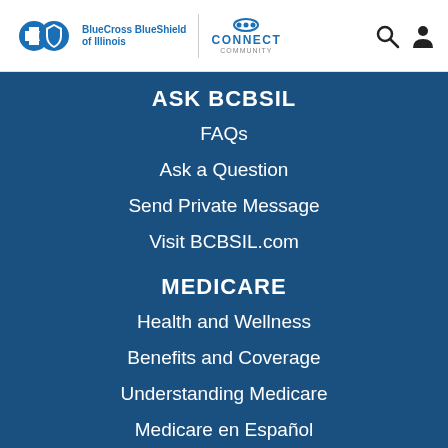BlueCross BlueShield of Illinois | CONNECT COMMUNITY
ASK BCBSIL
FAQs
Ask a Question
Send Private Message
Visit BCBSIL.com
MEDICARE
Health and Wellness
Benefits and Coverage
Understanding Medicare
Medicare en Español